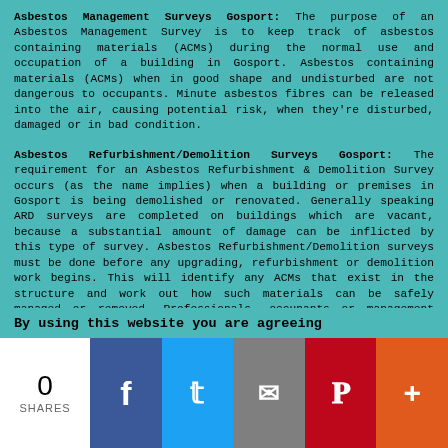Asbestos Management Surveys Gosport: The purpose of an Asbestos Management Survey is to keep track of asbestos containing materials (ACMs) during the normal use and occupation of a building in Gosport. Asbestos containing materials (ACMs) when in good shape and undisturbed are not dangerous to occupants. Minute asbestos fibres can be released into the air, causing potential risk, when they're disturbed, damaged or in bad condition.
Asbestos Refurbishment/Demolition Surveys Gosport: The requirement for an Asbestos Refurbishment & Demolition Survey occurs (as the name implies) when a building or premises in Gosport is being demolished or renovated. Generally speaking ARD surveys are completed on buildings which are vacant, because a substantial amount of damage can be inflicted by this type of survey. Asbestos Refurbishment/Demolition surveys must be done before any upgrading, refurbishment or demolition work begins. This will identify any ACMs that exist in the structure and work out how such materials can be safely managed or removed. Professionals, occupants or management agents involved in renovations and restorations of any size have the responsibility of organising these surveys. (Tags: Asbestos
By using this website you are agreeing
0 SHARES